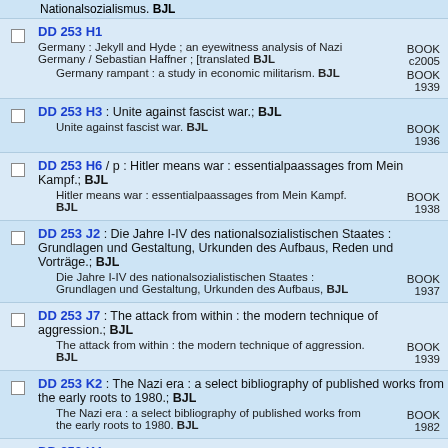Nationalsozialismus. BJL
DD 253 H1 — Germany : Jekyll and Hyde ; an eyewitness analysis of Nazi Germany / Sebastian Haffner ; [translated BJL — BOOK c2005; Germany rampant : a study in economic militarism. BJL — BOOK 1939
DD 253 H3 : Unite against fascist war.; BJL — Unite against fascist war. BJL — BOOK 1936
DD 253 H6 / p : Hitler means war : essentialpaassages from Mein Kampf.; BJL — Hitler means war : essentialpaassages from Mein Kampf. BJL — BOOK 1938
DD 253 J2 : Die Jahre I-IV des nationalsozialistischen Staates : Grundlagen und Gestaltung, Urkunden des Aufbaus, Reden und Vorträge.; BJL — Die Jahre I-IV des nationalsozialistischen Staates : Grundlagen und Gestaltung, Urkunden des Aufbaus, BJL — BOOK 1937
DD 253 J7 : The attack from within : the modern technique of aggression.; BJL — The attack from within : the modern technique of aggression. BJL — BOOK 1939
DD 253 K2 : The Nazi era : a select bibliography of published works from the early roots to 1980.; BJL — The Nazi era : a select bibliography of published works from the early roots to 1980. BJL — BOOK 1982
DD 253 K4 — Der Aufstieg des Nationalsozialismus im Spiegel der französischen Presse, 1930-1933. BJL — BOOK 1969; Darkness from the north. BJL — BOOK 1935